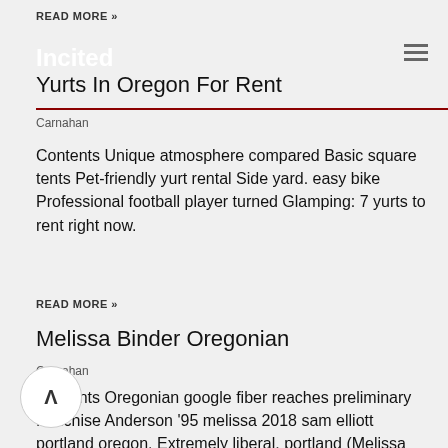READ MORE »
Incited
Yurts In Oregon For Rent
Carnahan
Contents Unique atmosphere compared Basic square tents Pet-friendly yurt rental Side yard. easy bike Professional football player turned Glamping: 7 yurts to rent right now.
READ MORE »
Melissa Binder Oregonian
Carnahan
Contents Oregonian google fiber reaches preliminary franchise Anderson '95 melissa 2018 sam elliott portland oregon. Extremely liberal. portland (Melissa Binder/The Oregonian) Decorating raw eggs using